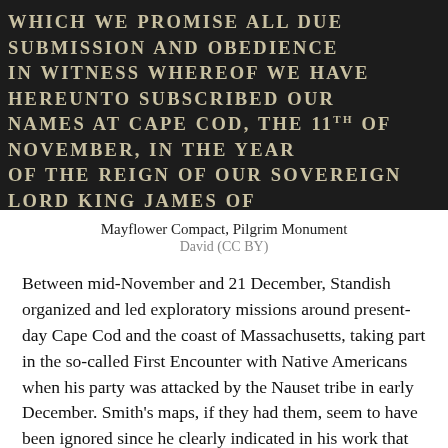[Figure (photo): A dark stone or metal plaque with engraved uppercase text reading the Mayflower Compact inscription, partially visible: 'WHICH WE PROMISE ALL DUE SUBMISSION AND OBEDIENCE IN WITNESS WHEREOF WE HAVE HEREUNTO SUBSCRIBED OUR NAMES AT CAPE COD, THE 11TH OF NOVEMBER, IN THE YEAR OF THE REIGN OF OUR SOVEREIGN LORD KING JAMES OF ENGLAND, FRANCE, AND IRELAND, THE EIGHTEENTH, AND OF SCOTLAND THE FIFTY-FOURTH, ANNO DOMINI, 1620']
Mayflower Compact, Pilgrim Monument
David (CC BY)
Between mid-November and 21 December, Standish organized and led exploratory missions around present-day Cape Cod and the coast of Massachusetts, taking part in the so-called First Encounter with Native Americans when his party was attacked by the Nauset tribe in early December. Smith's maps, if they had them, seem to have been ignored since he clearly indicated in his work that the ideal location was present-day Boston which not only had a deep harbor to